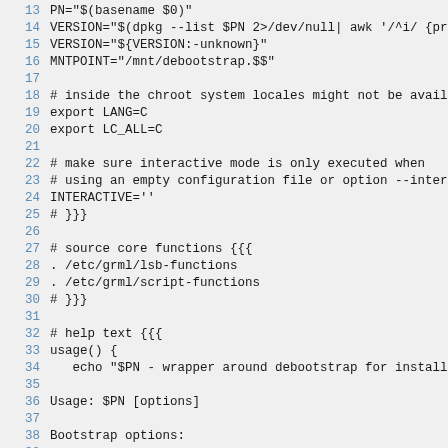Code listing lines 13–39 of a shell script
13 PN="$(basename $0)"
14 VERSION="$(dpkg --list $PN 2>/dev/null| awk '/^i/ {print'
15 VERSION="${VERSION:-unknown}"
16 MNTPOINT="/mnt/debootstrap.$$"
17
18 # inside the chroot system locales might not be availabl
19 export LANG=C
20 export LC_ALL=C
21
22 # make sure interactive mode is only executed when
23 # using an empty configuration file or option --interact
24 INTERACTIVE=''
25 # }}}
26
27 # source core functions {{{
28 . /etc/grml/lsb-functions
29 . /etc/grml/script-functions
30 # }}}
31
32 # help text {{{
33 usage() {
34   echo "$PN - wrapper around debootstrap for installing
35
36 Usage: $PN [options]
37
38 Bootstrap options:
39